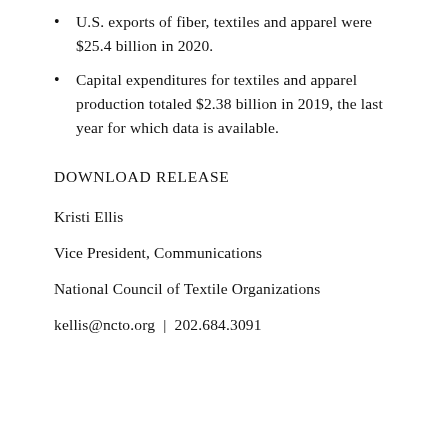U.S. exports of fiber, textiles and apparel were $25.4 billion in 2020.
Capital expenditures for textiles and apparel production totaled $2.38 billion in 2019, the last year for which data is available.
DOWNLOAD RELEASE
Kristi Ellis
Vice President, Communications
National Council of Textile Organizations
kellis@ncto.org  |  202.684.3091